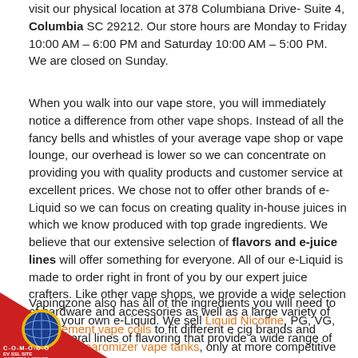visit our physical location at 378 Columbiana Drive- Suite 4, Columbia SC 29212. Our store hours are Monday to Friday 10:00 AM – 6:00 PM and Saturday 10:00 AM – 5:00 PM. We are closed on Sunday.
When you walk into our vape store, you will immediately notice a difference from other vape shops. Instead of all the fancy bells and whistles of your average vape shop or vape lounge, our overhead is lower so we can concentrate on providing you with quality products and customer service at excellent prices. We chose not to offer other brands of e-Liquid so we can focus on creating quality in-house juices in which we know produced with top grade ingredients. We believe that our extensive selection of flavors and e-juice lines will offer something for everyone. All of our e-Liquid is made to order right in front of you by our expert juice crafters. Like other vape shops, we provide a wide selection of hardware and accessories as well as a large variety of replacement vape coils to fit different e cig brands and styles of clearomizer vape tanks, only at more competitive prices than other vape stores can offer.
Vapingzone also has all of the ingredients you will need to make your own e-Liquid. We sell Liquid Nicotine, PG, VG, and several lines of flavoring that provide a wide range of flavors.
[Figure (logo): Comodo EV SSL Site authentic and secure badge with red triangle, globe icon, and text C-O-M-O-D-O EV SSL SITE AUNTHETIC & SECURE]